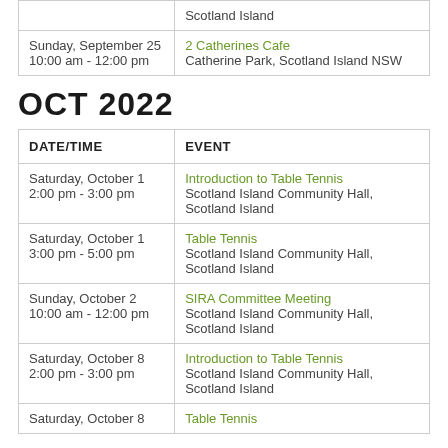|  |  |
| --- | --- |
|  | Scotland Island |
| Sunday, September 25
10:00 am - 12:00 pm | 2 Catherines Cafe
Catherine Park, Scotland Island NSW |
OCT 2022
| DATE/TIME | EVENT |
| --- | --- |
| Saturday, October 1
2:00 pm - 3:00 pm | Introduction to Table Tennis
Scotland Island Community Hall, Scotland Island |
| Saturday, October 1
3:00 pm - 5:00 pm | Table Tennis
Scotland Island Community Hall, Scotland Island |
| Sunday, October 2
10:00 am - 12:00 pm | SIRA Committee Meeting
Scotland Island Community Hall, Scotland Island |
| Saturday, October 8
2:00 pm - 3:00 pm | Introduction to Table Tennis
Scotland Island Community Hall, Scotland Island |
| Saturday, October 8 | Table Tennis |